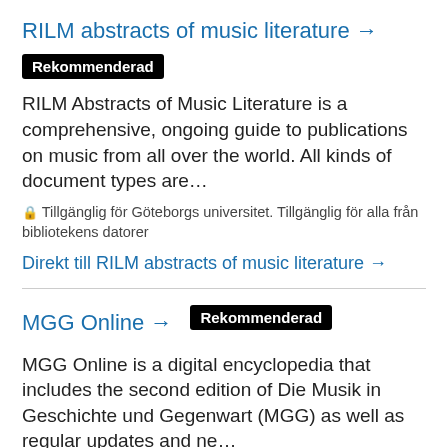RILM abstracts of music literature →
Rekommenderad
RILM Abstracts of Music Literature is a comprehensive, ongoing guide to publications on music from all over the world. All kinds of document types are…
🔒 Tillgänglig för Göteborgs universitet. Tillgänglig för alla från bibliotekens datorer
Direkt till RILM abstracts of music literature →
MGG Online →
Rekommenderad
MGG Online is a digital encyclopedia that includes the second edition of Die Musik in Geschichte und Gegenwart (MGG) as well as regular updates and ne…
🔒 Tillgänglig för Göteborgs universitet. Tillgänglig för alla från bibliotekens datorer